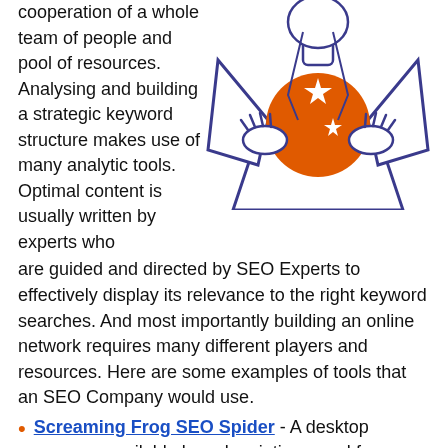cooperation of a whole team of people and pool of resources. Analysing and building a strategic keyword structure makes use of many analytic tools. Optimal content is usually written by experts who are guided and directed by SEO Experts to effectively display its relevance to the right keyword searches. And most importantly building an online network requires many different players and resources. Here are some examples of tools that an SEO Company would use.
[Figure (illustration): A cartoon illustration of a person in a suit holding a large orange star-patterned ball/globe to their chest, drawn in a comic book style with blue outlines.]
Screaming Frog SEO Spider - A desktop program available by subscription, used for scanning websites to provide technical reporting.
Plagiarism Checker - A free online services used for checking the uniqueness of the text, helping avoid plagiarism.
Semrush.com - A paid service used for researching competitors websites.
Serpstat.com - A paid multifunctional service that allows you to